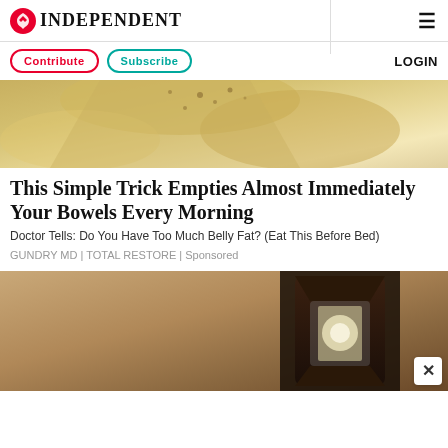INDEPENDENT
[Figure (photo): Close-up photo of food with seasoning/spices on a light colored surface]
This Simple Trick Empties Almost Immediately Your Bowels Every Morning
Doctor Tells: Do You Have Too Much Belly Fat? (Eat This Before Bed)
GUNDRY MD | TOTAL RESTORE | Sponsored
[Figure (photo): Photo of a dark metal wall lantern/light fixture mounted on a textured stucco wall]